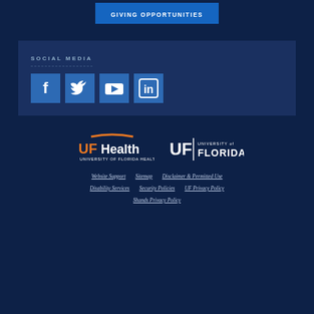GIVING OPPORTUNITIES
SOCIAL MEDIA
[Figure (other): Social media icons: Facebook, Twitter, YouTube, LinkedIn in blue square buttons]
[Figure (logo): UF Health - University of Florida Health logo with orange arc and UFHealth text]
[Figure (logo): University of Florida UF logo in white text]
Website Support
Sitemap
Disclaimer & Permitted Use
Disability Services
Security Policies
UF Privacy Policy
Shands Privacy Policy